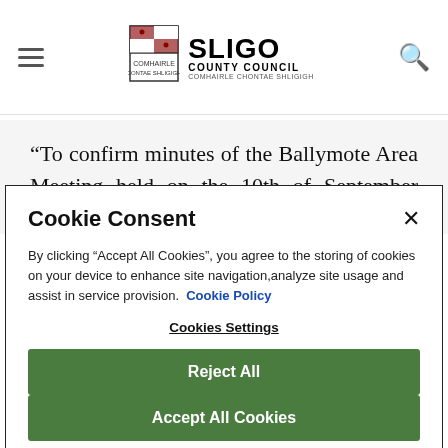Sligo County Council
“To confirm minutes of the Ballymote Area Meeting held on the 10th of September 2007”.
Cookie Consent
By clicking “Accept All Cookies”, you agree to the storing of cookies on your device to enhance site navigation,analyze site usage and assist in service provision.  Cookie Policy
Cookies Settings
Reject All
Accept All Cookies